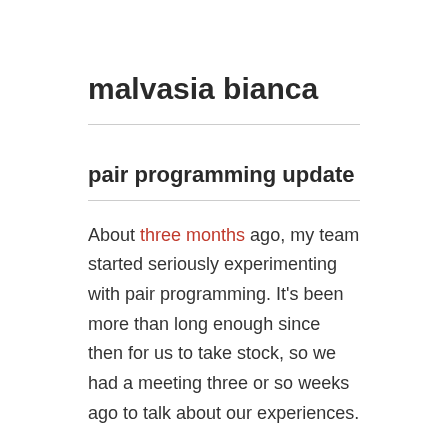malvasia bianca
pair programming update
About three months ago, my team started seriously experimenting with pair programming. It's been more than long enough since then for us to take stock, so we had a meeting three or so weeks ago to talk about our experiences.